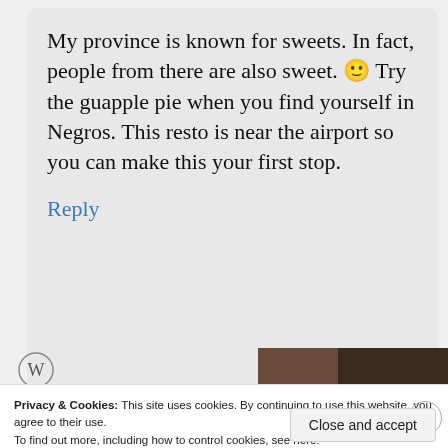My province is known for sweets. In fact, people from there are also sweet. 🙂 Try the guapple pie when you find yourself in Negros. This resto is near the airport so you can make this your first stop.
Reply
Privacy & Cookies: This site uses cookies. By continuing to use this website, you agree to their use.
To find out more, including how to control cookies, see here:
Cookie Policy
Close and accept